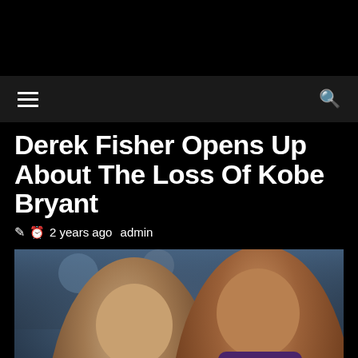[Figure (photo): Top black advertisement/header bar]
≡  🔍
Derek Fisher Opens Up About The Loss Of Kobe Bryant
2 years ago  admin
[Figure (photo): Photo of Derek Fisher (left, bald) and Kobe Bryant (right, taller) in Lakers uniform, against a blurred arena background. A scroll-to-top button appears in the bottom right corner.]